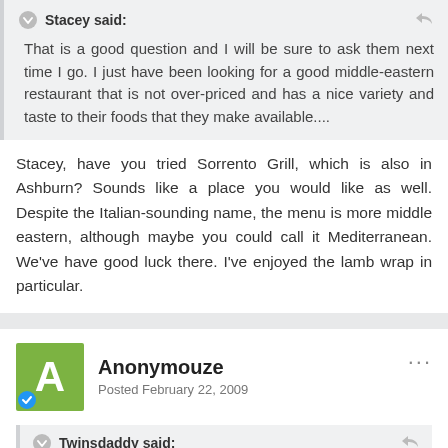Stacey said:
That is a good question and I will be sure to ask them next time I go. I just have been looking for a good middle-eastern restaurant that is not over-priced and has a nice variety and taste to their foods that they make available....
Stacey, have you tried Sorrento Grill, which is also in Ashburn? Sounds like a place you would like as well. Despite the Italian-sounding name, the menu is more middle eastern, although maybe you could call it Mediterranean. We've have good luck there. I've enjoyed the lamb wrap in particular.
Anonymouze
Posted February 22, 2009
Twinsdaddy said:
Stacey, have you tried Sorrento Grill, which is also in...